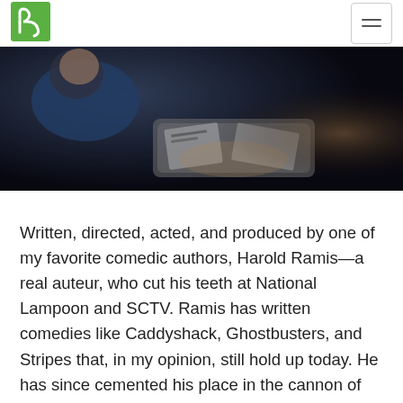Logo and navigation menu
[Figure (photo): A dark, moody close-up photo showing a person in blue and a metallic tray or container with papers/cards, dimly lit scene]
Written, directed, acted, and produced by one of my favorite comedic authors, Harold Ramis—a real auteur, who cut his teeth at National Lampoon and SCTV. Ramis has written comedies like Caddyshack, Ghostbusters, and Stripes that, in my opinion, still hold up today. He has since cemented his place in the cannon of great